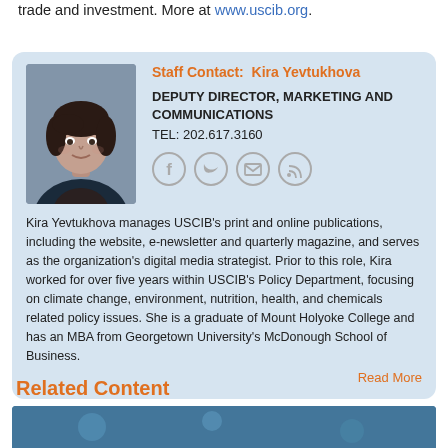trade and investment. More at www.uscib.org.
Staff Contact: Kira Yevtukhova
DEPUTY DIRECTOR, MARKETING AND COMMUNICATIONS
TEL: 202.617.3160
[Figure (photo): Professional headshot of Kira Yevtukhova, a woman with dark hair wearing a dark blazer]
[Figure (other): Social media icons: Facebook, Twitter, Email, RSS]
Kira Yevtukhova manages USCIB's print and online publications, including the website, e-newsletter and quarterly magazine, and serves as the organization's digital media strategist. Prior to this role, Kira worked for over five years within USCIB's Policy Department, focusing on climate change, environment, nutrition, health, and chemicals related policy issues. She is a graduate of Mount Holyoke College and has an MBA from Georgetown University's McDonough School of Business.
Read More
Related Content
[Figure (photo): Partial image at bottom of page, blue-toned photo]